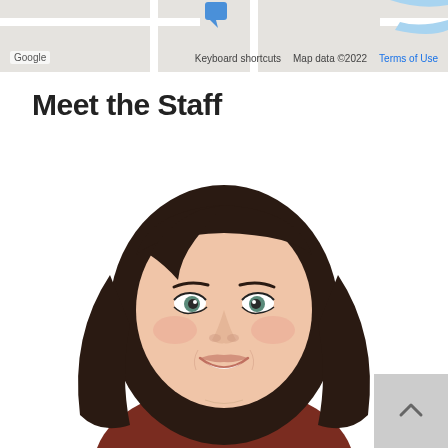[Figure (map): Google Maps partial screenshot showing a street map with blue location marker. Footer shows 'Google', 'Keyboard shortcuts', 'Map data ©2022', 'Terms of Use'.]
Meet the Staff
[Figure (photo): Professional headshot of a young woman with long dark brown hair, light skin, blue-green eyes, wearing a dark red/burgundy top. She is smiling at the camera against a white background.]